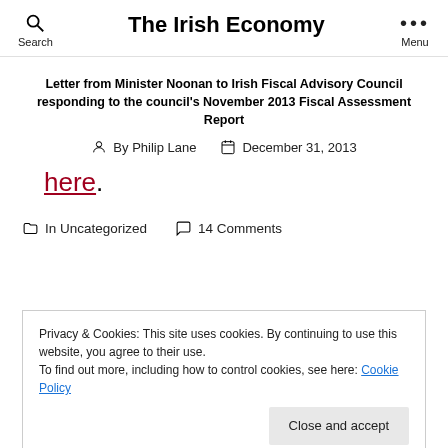The Irish Economy
Letter from Minister Noonan to Irish Fiscal Advisory Council responding to the council's November 2013 Fiscal Assessment Report
By Philip Lane   December 31, 2013
here.
In Uncategorized   14 Comments
Privacy & Cookies: This site uses cookies. By continuing to use this website, you agree to their use.
To find out more, including how to control cookies, see here: Cookie Policy
responding to the council's